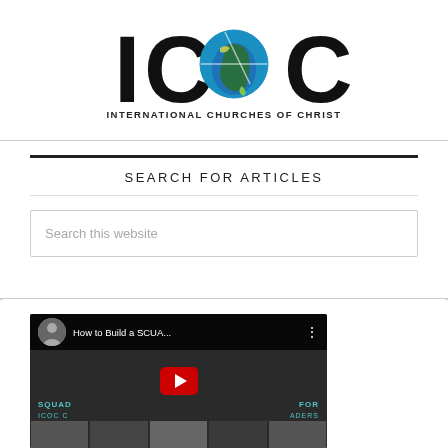[Figure (logo): ICOC logo with globe and text INTERNATIONAL CHURCHES OF CHRIST]
SEARCH FOR ARTICLES
Search this website
[Figure (screenshot): YouTube video thumbnail: How to Build a SCUA... with SQUAD ICOC and FOR LEADERS text visible, play button in center]